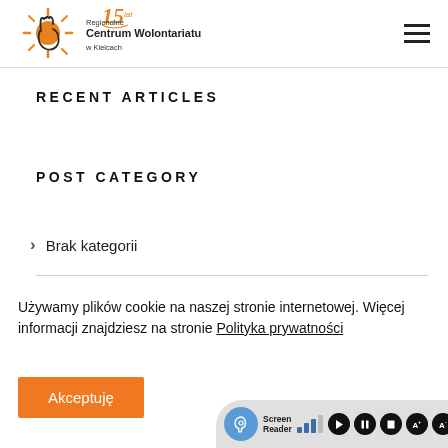[Figure (logo): Regionalne Centrum Wolontariatu w Kielcach logo with sun/hand graphic and 15 lat anniversary badge]
RECENT ARTICLES
POST CATEGORY
Brak kategorii
Używamy plików cookie na naszej stronie internetowej. Więcej informacji znajdziesz na stronie Polityka prywatności
Akceptuję